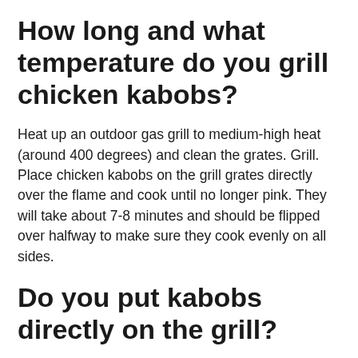How long and what temperature do you grill chicken kabobs?
Heat up an outdoor gas grill to medium-high heat (around 400 degrees) and clean the grates. Grill. Place chicken kabobs on the grill grates directly over the flame and cook until no longer pink. They will take about 7-8 minutes and should be flipped over halfway to make sure they cook evenly on all sides.
Do you put kabobs directly on the grill?
Place meat cubes on skewers, about 4-6 pieces per stick. 4) Then, prepare the grill for direct grilling over medium heat (350-450 degrees) and allow it to preheat for 10-15 minutes.